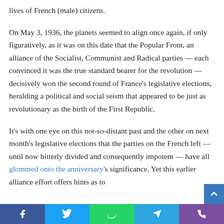lives of French (male) citizens.
On May 3, 1936, the planets seemed to align once again, if only figuratively, as it was on this date that the Popular Front, an alliance of the Socialist, Communist and Radical parties — each convinced it was the true standard bearer for the revolution — decisively won the second round of France's legislative elections, heralding a political and social seism that appeared to be just as revolutionary as the birth of the First Republic.
It's with one eye on this not-so-distant past and the other on next month's legislative elections that the parties on the French left — until now bitterly divided and consequently impotent — have all glommed onto the anniversary's significance. Yet this earlier alliance effort offers hints as to